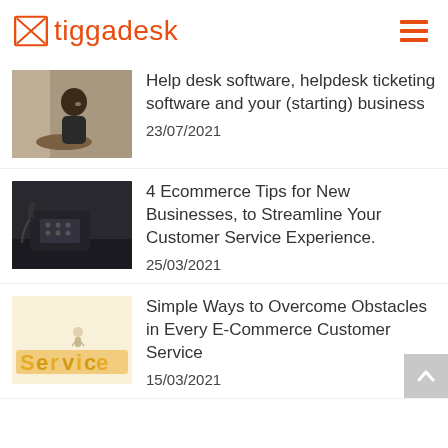tiggadesk
[Figure (photo): Man sitting at cafe table, smiling, wearing dark jacket]
Help desk software, helpdesk ticketing software and your (starting) business
23/07/2021
[Figure (photo): Office desk phone on dark surface]
4 Ecommerce Tips for New Businesses, to Streamline Your Customer Service Experience.
25/03/2021
[Figure (photo): 3D golden letters spelling Service with small figure on top]
Simple Ways to Overcome Obstacles in Every E-Commerce Customer Service
15/03/2021